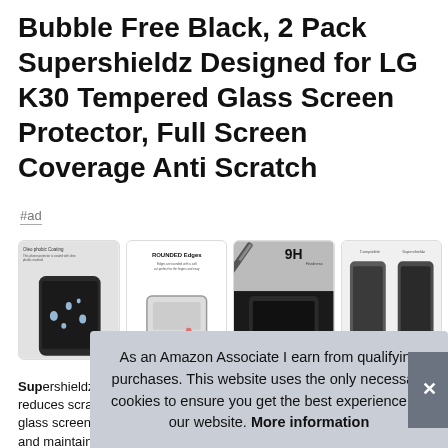Bubble Free Black, 2 Pack Supershieldz Designed for LG K30 Tempered Glass Screen Protector, Full Screen Coverage Anti Scratch
#ad
[Figure (photo): Four product images of screen protectors: 1) Oleophobic coating demo with water drops on phone, 2) Rounded edges diagram, 3) 9H hardness test illustration, 4) Compatible phone comparison]
Supershieldz ... reduces ... glass ... and maintains the original touch experience.
As an Amazon Associate I earn from qualifying purchases. This website uses the only necessary cookies to ensure you get the best experience on our website. More information